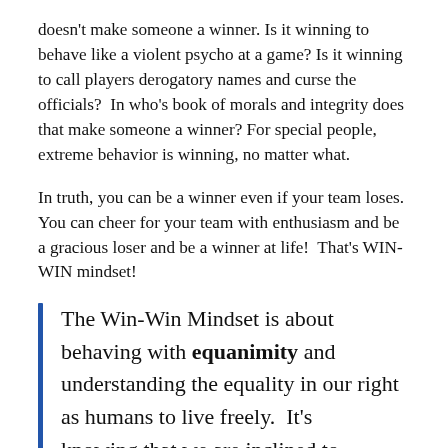doesn't make someone a winner. Is it winning to behave like a violent psycho at a game? Is it winning to call players derogatory names and curse the officials?  In who's book of morals and integrity does that make someone a winner? For special people, extreme behavior is winning, no matter what.
In truth, you can be a winner even if your team loses. You can cheer for your team with enthusiasm and be a gracious loser and be a winner at life!  That's WIN-WIN mindset!
The Win-Win Mindset is about behaving with equanimity and understanding the equality in our right as humans to live freely.  It's knowing that we are inclined to...